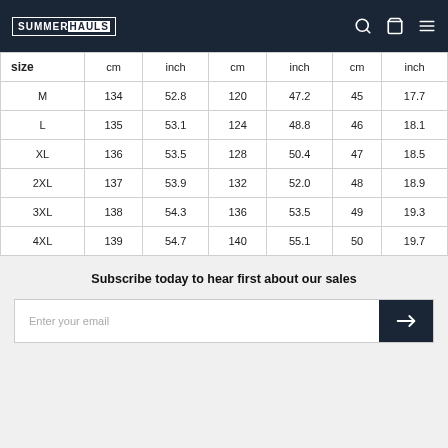SUMMERHAULS
| size | cm | inch | cm | inch | cm | inch |
| --- | --- | --- | --- | --- | --- | --- |
| M | 134 | 52.8 | 120 | 47.2 | 45 | 17.7 |
| L | 135 | 53.1 | 124 | 48.8 | 46 | 18.1 |
| XL | 136 | 53.5 | 128 | 50.4 | 47 | 18.5 |
| 2XL | 137 | 53.9 | 132 | 52.0 | 48 | 18.9 |
| 3XL | 138 | 54.3 | 136 | 53.5 | 49 | 19.3 |
| 4XL | 139 | 54.7 | 140 | 55.1 | 50 | 19.7 |
Subscribe today to hear first about our sales